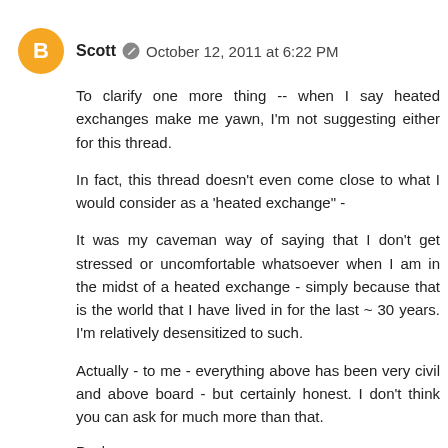Scott  October 12, 2011 at 6:22 PM
To clarify one more thing -- when I say heated exchanges make me yawn, I'm not suggesting either for this thread.
In fact, this thread doesn't even come close to what I would consider as a 'heated exchange" -
It was my caveman way of saying that I don't get stressed or uncomfortable whatsoever when I am in the midst of a heated exchange - simply because that is the world that I have lived in for the last ~ 30 years. I'm relatively desensitized to such.
Actually - to me - everything above has been very civil and above board - but certainly honest. I don't think you can ask for much more than that.
Reply